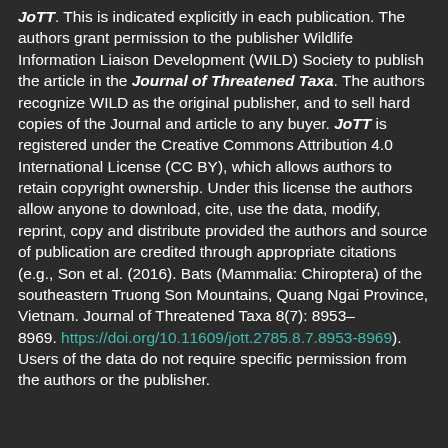JoTT. This is indicated explicitly in each publication. The authors grant permission to the publisher Wildlife Information Liaison Development (WILD) Society to publish the article in the Journal of Threatened Taxa. The authors recognize WILD as the original publisher, and to sell hard copies of the Journal and article to any buyer. JoTT is registered under the Creative Commons Attribution 4.0 International License (CC BY), which allows authors to retain copyright ownership. Under this license the authors allow anyone to download, cite, use the data, modify, reprint, copy and distribute provided the authors and source of publication are credited through appropriate citations (e.g., Son et al. (2016). Bats (Mammalia: Chiroptera) of the southeastern Truong Son Mountains, Quang Ngai Province, Vietnam. Journal of Threatened Taxa 8(7): 8953–8969. https://doi.org/10.11609/jott.2785.8.7.8953-8969). Users of the data do not require specific permission from the authors or the publisher.